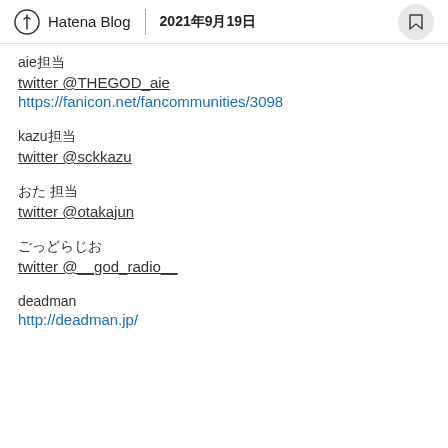Hatena Blog 2021年9月19日
aie担当
twitter @THEGOD_aie
https://fanicon.net/fancommunities/3098
kazu担当
twitter @sckkazu
おた 担当
twitter @otakajun
ごっどらじお
twitter @__god_radio__
deadman
http://deadman.jp/